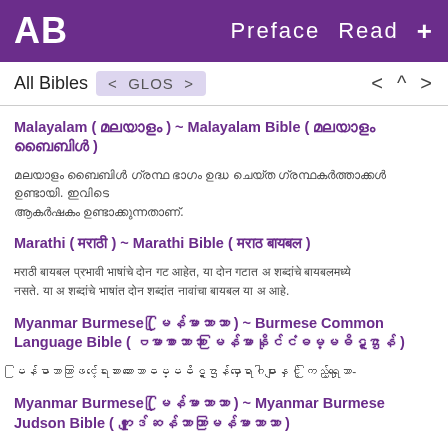AB  Preface  Read  +
All Bibles  < GLOS >   < ^ >
Malayalam ( മലയാളം ) ~ Malayalam Bible ( മലയാളം ബൈബിൾ )
മലയാളം ബൈബിൾ ഗ്രന്ഥ ഭാഗം ഉദ്ധ ചെയ്ത ഗ്രന്ഥകർത്താക്കൾ ഉണ്ടായി. ഇവിടെ ആകർഷകം ഉണ്ടാക്കുന്നതാണ്.
Marathi ( मराठी ) ~ Marathi Bible ( मराठ बायबल )
मराठी बायबल प्रभावी भाषांचे दोन गट आहेत, या दोन गटात अ शब्दांचे बायबलमध्ये नसते. या अ शब्दांचे भाषांत दोन शब्दांत नावांचा बायबल या अ आहे.
Myanmar Burmese ( မြန်မာဘာသာ ) ~ Burmese Common Language Bible ( ဗမာစာဘာသာ မြန်မာနိုင်ငံဓမ္မဓိဋ္ဌာန် )
မြန်မာဘာသာဖြင့်ရေးသားထားသောဓမ္မဓိဋ္ဌာန်မှာရောဂါများနှင့် ကြည့်ရှု သော-
Myanmar Burmese ( မြန်မာဘာသာ ) ~ Myanmar Burmese Judson Bible ( ကျူဒ်ဆန်ဘာသာမြန်မာဘာသာ )